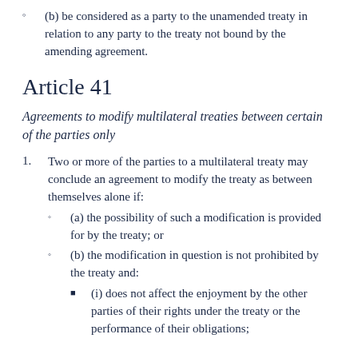(b) be considered as a party to the unamended treaty in relation to any party to the treaty not bound by the amending agreement.
Article 41
Agreements to modify multilateral treaties between certain of the parties only
1. Two or more of the parties to a multilateral treaty may conclude an agreement to modify the treaty as between themselves alone if:
(a) the possibility of such a modification is provided for by the treaty; or
(b) the modification in question is not prohibited by the treaty and:
(i) does not affect the enjoyment by the other parties of their rights under the treaty or the performance of their obligations;